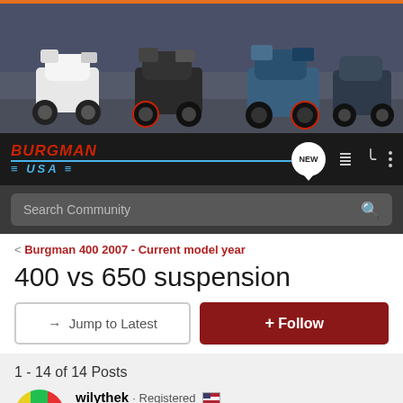[Figure (photo): Banner image showing multiple scooters/motorcycles including Suzuki Burgman models arranged side by side on a road]
[Figure (logo): Burgman USA forum logo in red and blue italic text with decorative lines]
Search Community
< Burgman 400 2007 - Current model year
400 vs 650 suspension
→ Jump to Latest
+ Follow
1 - 14 of 14 Posts
wilythek · Registered 🇺🇸
Joined Jul 8, 2005 · 484 Posts